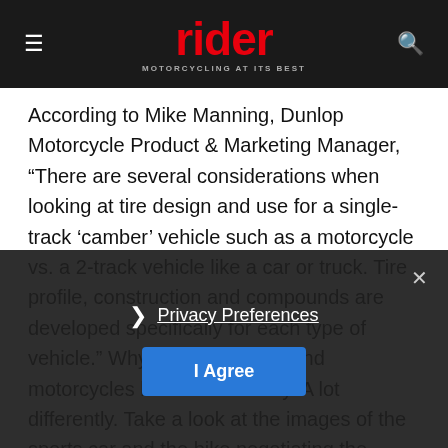rider — MOTORCYCLING AT ITS BEST
According to Mike Manning, Dunlop Motorcycle Product & Marketing Manager, “There are several considerations when looking at tire design and use for a single-track ‘camber’ vehicle such as a motorcycle vs. a 2-track vehicle like a car or truck. Tire profile, construction and compounds are developed specifically for each type of vehicle.” Why? Because cars and motorcycles handle differently. A lot differently. Take a look at the images of the sports car and the bike negotiating the same sharp left-hand bend. Although both BMWs, their handling demands on t…
Privacy Preferences | I Agree